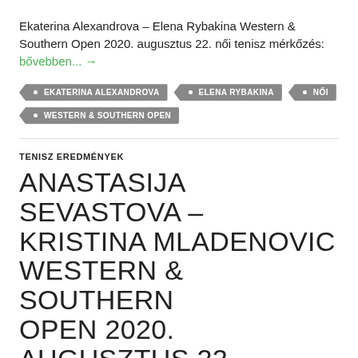Ekaterina Alexandrova – Elena Rybakina Western & Southern Open 2020. augusztus 22. női tenisz mérkőzés: bővebben... →
• EKATERINA ALEXANDROVA
• ELENA RYBAKINA
• NŐI
• WESTERN & SOUTHERN OPEN
TENISZ EREDMÉNYEK
ANASTASIJA SEVASTOVA – KRISTINA MLADENOVIC WESTERN & SOUTHERN OPEN 2020. AUGUSZTUS 22. NŐI TENISZ